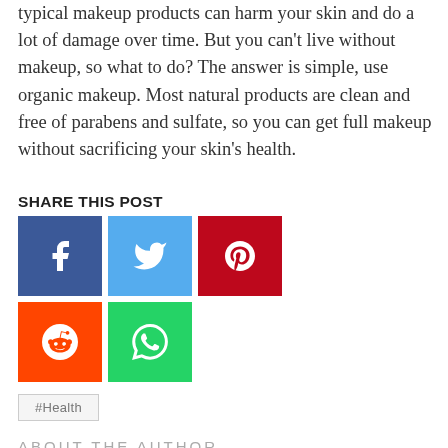typical makeup products can harm your skin and do a lot of damage over time. But you can't live without makeup, so what to do? The answer is simple, use organic makeup. Most natural products are clean and free of parabens and sulfate, so you can get full makeup without sacrificing your skin's health.
SHARE THIS POST
[Figure (infographic): Social media share buttons: Facebook (blue), Twitter (light blue), Pinterest (red), Reddit (orange), WhatsApp (green)]
#Health
ABOUT THE AUTHOR
Dr. Kamini Jain → Author
Dentist by profession and an avid reader.